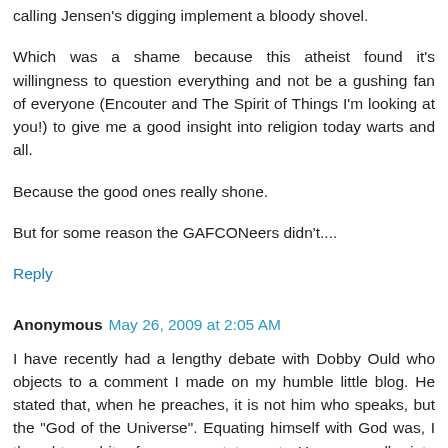calling Jensen's digging implement a bloody shovel.
Which was a shame because this atheist found it's willingness to question everything and not be a gushing fan of everyone (Encouter and The Spirit of Things I'm looking at you!) to give me a good insight into religion today warts and all.
Because the good ones really shone.
But for some reason the GAFCONeers didn't....
Reply
Anonymous May 26, 2009 at 2:05 AM
I have recently had a lengthy debate with Dobby Ould who objects to a comment I made on my humble little blog. He stated that, when he preaches, it is not him who speaks, but the "God of the Universe". Equating himself with God was, I thought, a bit of an over-statement. He now calls into question my unChristian behaviour and suggests I am "angry". Clearly, if one disagrees with a Viagran from